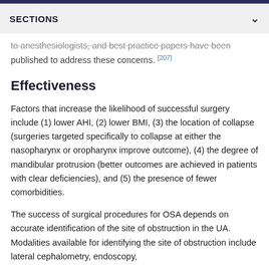to anesthesiologists, and best practice papers have been published to address these concerns. [207]
Effectiveness
Factors that increase the likelihood of successful surgery include (1) lower AHI, (2) lower BMI, (3) the location of collapse (surgeries targeted specifically to collapse at either the nasopharynx or oropharynx improve outcome), (4) the degree of mandibular protrusion (better outcomes are achieved in patients with clear deficiencies), and (5) the presence of fewer comorbidities.
The success of surgical procedures for OSA depends on accurate identification of the site of obstruction in the UA. Modalities available for identifying the site of obstruction include lateral cephalometry, endoscopy,